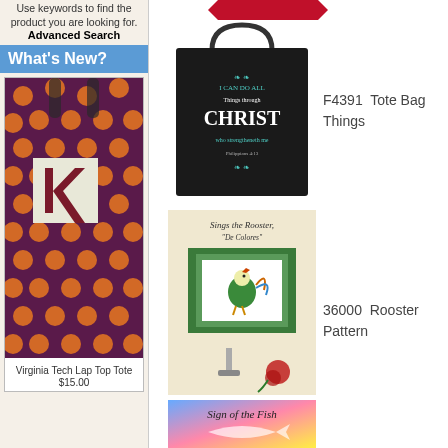Use keywords to find the product you are looking for.
Advanced Search
What's New?
[Figure (photo): Virginia Tech Lap Top Tote bag with purple/orange polka dot fabric]
Virginia Tech Lap Top Tote
$15.00
[Figure (photo): Dark tote bag with Christ-themed embroidery text]
F4391  Tote Bag Things
[Figure (photo): Rooster cross-stitch pattern book cover titled Sings the Rooster, De Colores]
36000  Rooster Pattern
[Figure (photo): Sign of the Fish pattern book cover with colorful fish design]